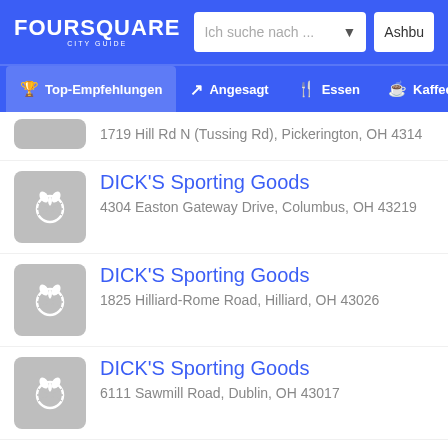FOURSQUARE CITY GUIDE — Ich suche nach ... — Ashbu
Top-Empfehlungen | Angesagt | Essen | Kaffee
1719 Hill Rd N (Tussing Rd), Pickerington, OH 4314
DICK'S Sporting Goods
4304 Easton Gateway Drive, Columbus, OH 43219
DICK'S Sporting Goods
1825 Hilliard-Rome Road, Hilliard, OH 43026
DICK'S Sporting Goods
6111 Sawmill Road, Dublin, OH 43017
DK Diner
1715 W 3rd Ave, Columbus, OH 43212
DP Dough